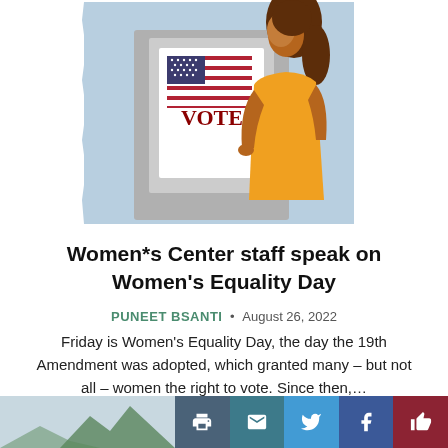[Figure (illustration): Illustration of a woman with brown hair wearing an orange dress standing at a grey voting booth. The booth has a white sign with an American flag and the word VOTE in dark red letters. Background is light blue/grey.]
Women*s Center staff speak on Women's Equality Day
PUNEET BSANTI • August 26, 2022
Friday is Women's Equality Day, the day the 19th Amendment was adopted, which granted many – but not all – women the right to vote. Since then,…